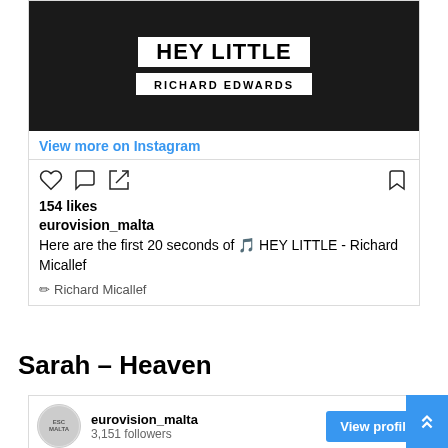[Figure (screenshot): Black and white Instagram post image showing text 'HEY LITTLE' in bold on white banner and 'RICHARD EDWARDS' on another white banner, against dark background]
View more on Instagram
154 likes
eurovision_malta
Here are the first 20 seconds of 🎵 HEY LITTLE - Richard Micallef
✏ Richard Micallef
Sarah – Heaven
eurovision_malta
3,151 followers
View profile